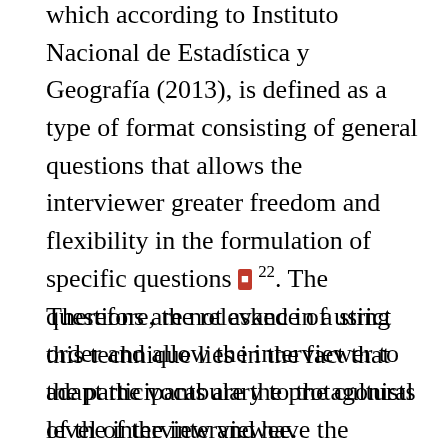which according to Instituto Nacional de Estadística y Geografía (2013), is defined as a type of format consisting of general questions that allows the interviewer greater freedom and flexibility in the formulation of specific questions [ref] 22. The questions are not asked in a strict order and allow the interviewer to adapt the vocabulary to the cultural level of the interviewee.
Therefore, the relevance of using this technique lies in the fact that the participants are the protagonists of the interview and have the opportunity to deepen their experiences and stories through generative questions, which is